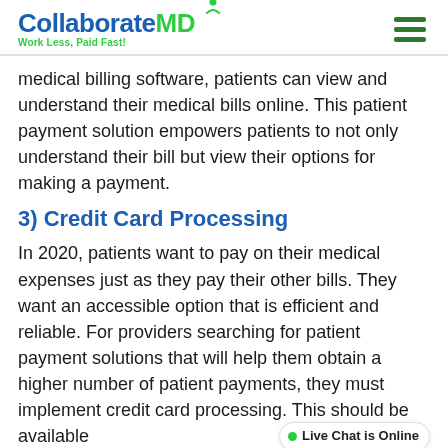CollaborateMD — Work Less, Paid Fast!
medical billing software, patients can view and understand their medical bills online. This patient payment solution empowers patients to not only understand their bill but view their options for making a payment.
3) Credit Card Processing
In 2020, patients want to pay on their medical expenses just as they pay their other bills. They want an accessible option that is efficient and reliable. For providers searching for patient payment solutions that will help them obtain a higher number of patient payments, they must implement credit card processing. This should be available patient portal as well as in the office. Your front line